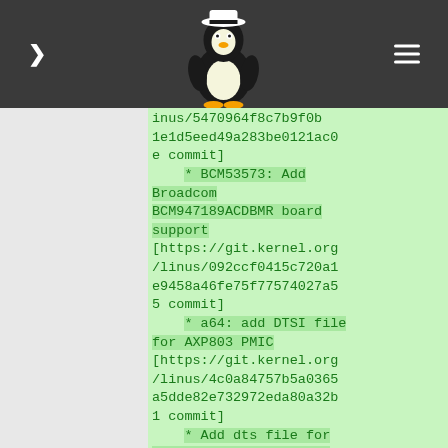[navigation header with Tux penguin logo, arrow button, and menu icon]
inus/5470964f8c7b9f0b1e1d5eed49a283be0121ac0e commit]
    * BCM53573: Add Broadcom BCM947189ACDBMR board support [https://git.kernel.org/linus/092ccf0415c720a1e9458a46fe75f77574027a55 commit]
    * a64: add DTSI file for AXP803 PMIC [https://git.kernel.org/linus/4c0a84757b5a0365a5dde82e732972eda80a32b1 commit]
    * Add dts file for MT7622 reference board variant 1 [https://git.kernel.org/linus/c4629c347947c11fe46381ec556a2ca26aafadc commit]